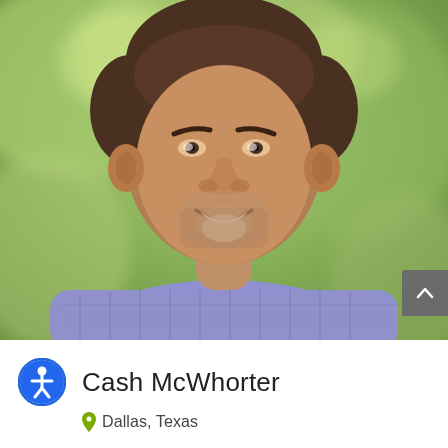[Figure (photo): Outdoor portrait photo of a smiling man with short brown hair and a light beard, wearing a blue/lavender plaid button-up shirt, with a blurred green outdoor background.]
Cash McWhorter
Dallas, Texas